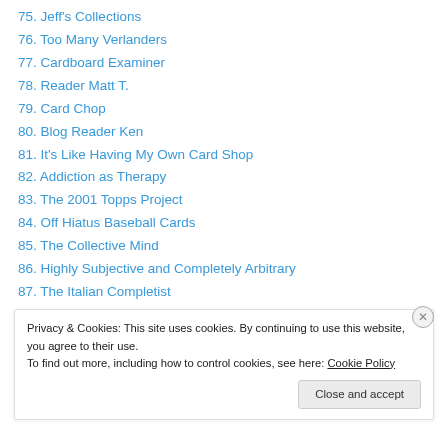75. Jeff's Collections
76. Too Many Verlanders
77. Cardboard Examiner
78. Reader Matt T.
79. Card Chop
80. Blog Reader Ken
81. It's Like Having My Own Card Shop
82. Addiction as Therapy
83. The 2001 Topps Project
84. Off Hiatus Baseball Cards
85. The Collective Mind
86. Highly Subjective and Completely Arbitrary
87. The Italian Completist
Privacy & Cookies: This site uses cookies. By continuing to use this website, you agree to their use. To find out more, including how to control cookies, see here: Cookie Policy
Close and accept